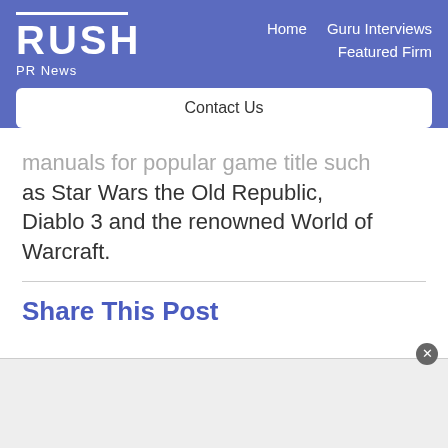RUSH PR News — Home | Guru Interviews | Featured Firm | Contact Us
manuals for popular game title such as Star Wars the Old Republic, Diablo 3 and the renowned World of Warcraft.
Share This Post